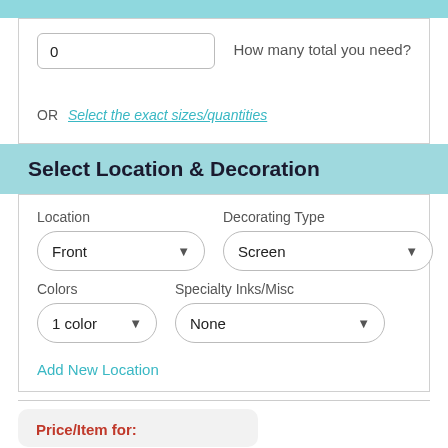0
How many total you need?
OR  Select the exact sizes/quantities
Select Location & Decoration
Location
Front
Decorating Type
Screen
Colors
1 color
Specialty Inks/Misc
None
Add New Location
Price/Item for: